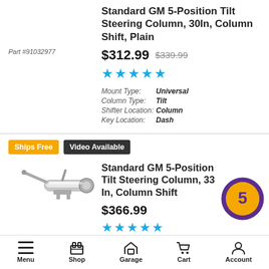Standard GM 5-Position Tilt Steering Column, 30In, Column Shift, Plain
$312.99  $339.99
★★★★★
Part #91032977
| Spec | Value |
| --- | --- |
| Mount Type: | Universal |
| Column Type: | Tilt |
| Shifter Location: | Column |
| Key Location: | Dash |
Ships Free   Video Available
[Figure (photo): Chrome steering column component with arm, photographed against white background]
Standard GM 5-Position Tilt Steering Column, 33 In, Column Shift
$366.99
★★★★★
[Figure (logo): Purple and gold circular loyalty/rewards badge with letter S]
Menu  Shop  Garage  Cart  Account